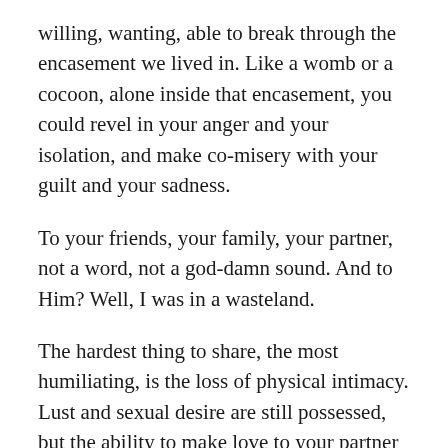willing, wanting, able to break through the encasement we lived in. Like a womb or a cocoon, alone inside that encasement, you could revel in your anger and your isolation, and make co-misery with your guilt and your sadness.
To your friends, your family, your partner, not a word, not a god-damn sound. And to Him? Well, I was in a wasteland.
The hardest thing to share, the most humiliating, is the loss of physical intimacy. Lust and sexual desire are still possessed, but the ability to make love to your partner and achieve that special intimate connection is gone. I'm at a loss for how to describe it and